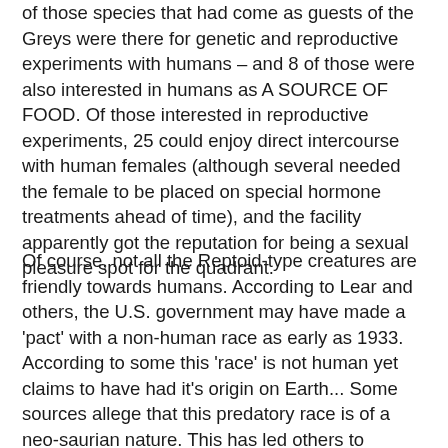of those species that had come as guests of the Greys were there for genetic and reproductive experiments with humans – and 8 of those were also interested in humans as A SOURCE OF FOOD. Of those interested in reproductive experiments, 25 could enjoy direct intercourse with human females (although several needed the female to be placed on special hormone treatments ahead of time), and the facility apparently got the reputation for being a sexual pleasure spot for the quadrant.
Of course, not all the Reptoid-type creatures are friendly towards humans. According to Lear and others, the U.S. government may have made a 'pact' with a non-human race as early as 1933. According to some this 'race' is not human yet claims to have had it's origin on Earth... Some sources allege that this predatory race is of a neo-saurian nature. This has led others to suggest that the dinosaurs which ruled the surface of the Earth in prehistoric times may not have become entirely extinct as is commonly believed, but that certain of the more